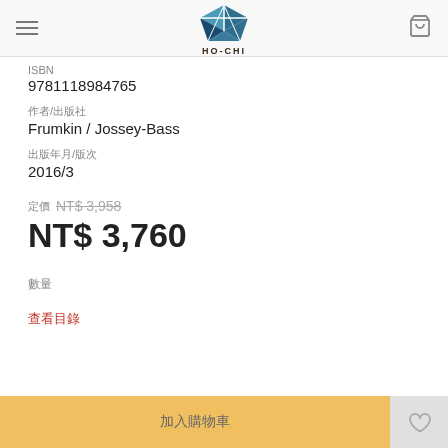HO-CHI
ISBN
9781118984765
作者/出版社
Frumkin / Jossey-Bass
出版年月/版次
2016/3
定價 NT$ 3,958
NT$ 3,760
數量
查看目錄
加入購物車